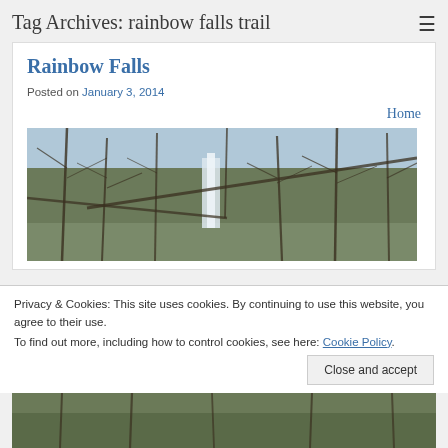Tag Archives: rainbow falls trail
Rainbow Falls
Posted on January 3, 2014
Home
[Figure (photo): Winter forest scene with bare trees and a waterfall visible in the background, panoramic view]
Privacy & Cookies: This site uses cookies. By continuing to use this website, you agree to their use.
To find out more, including how to control cookies, see here: Cookie Policy
Close and accept
[Figure (photo): Second photo of winter forest/nature scene, partially visible at bottom of page]